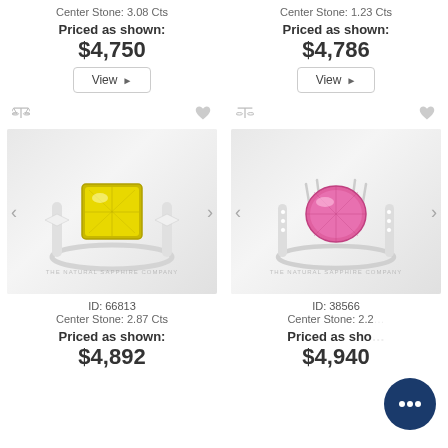Center Stone: 3.08 Cts
Priced as shown:
$4,750
View ▶
Center Stone: 1.23 Cts
Priced as shown:
$4,786
View ▶
[Figure (photo): Yellow gemstone (cushion cut) ring with white metal band and diamond accents, on light grey background. Watermark: THE NATURAL SAPPHIRE COMPANY]
ID: 66813
Center Stone: 2.87 Cts
Priced as shown:
$4,892
[Figure (photo): Pink gemstone (cushion cut) ring with white metal band and diamond accents, on light grey background. Watermark: THE NATURAL SAPPHIRE COMPANY]
ID: 38566
Center Stone: 2.2…
Priced as sho…
$4,940